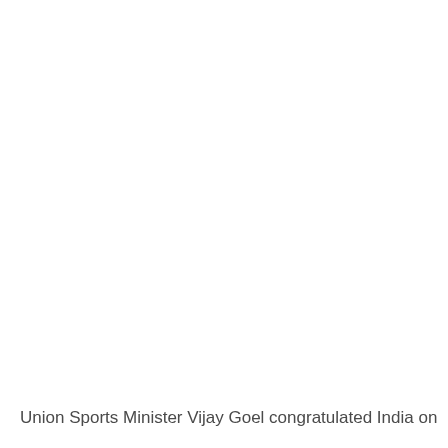Union Sports Minister Vijay Goel congratulated India on